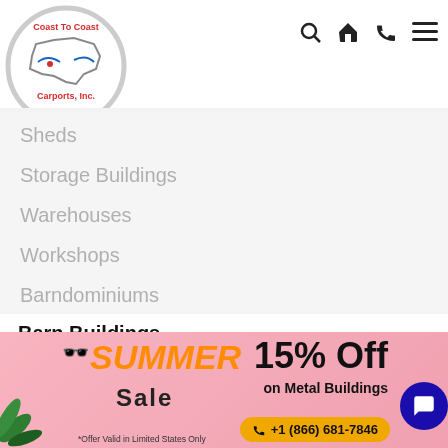[Figure (logo): Coast To Coast Carports, Inc. logo — circular badge with US map outline and arrows, red and blue text]
[Figure (infographic): Navigation icons: search magnifier, home, phone, hamburger menu]
Sheds
Storage Buildings
Warehouses
Workshops
Barndominiums
Metal Building Prices
Barn Buildings
Regular Style Barns
[Figure (infographic): Summer Sale advertisement banner: SUMMER Sale in orange/black text, 15% Off on Metal Buildings, phone number +1 (866) 681-7846 in orange pill, *Offer Valid in Limited States Only, tropical leaves decoration, chat button]